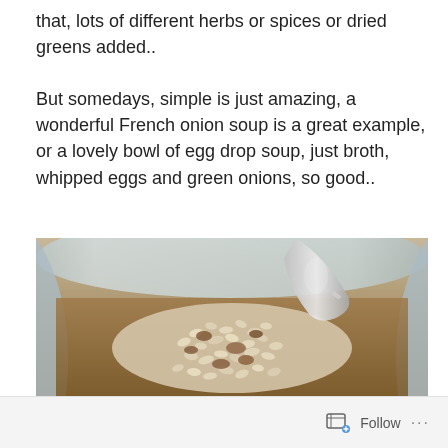that, lots of different herbs or spices or dried greens added..

But somedays, simple is just amazing, a wonderful French onion soup is a great example, or a lovely bowl of egg drop soup, just broth, whipped eggs and green onions, so good..
[Figure (photo): Close-up photo of a bowl of soup with barley/rice grains and meat in a brown broth, with a metal spoon resting in the bowl. The bowl appears to be light blue/green ceramic.]
Follow ···